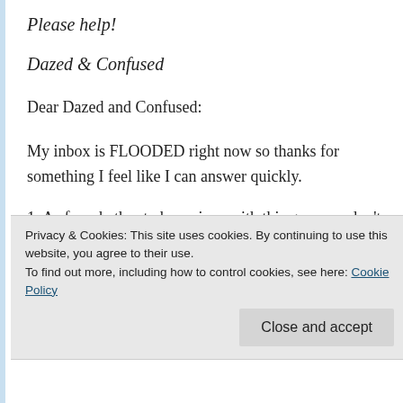Please help!
Dazed & Confused
Dear Dazed and Confused:
My inbox is FLOODED right now so thanks for something I feel like I can answer quickly.
1. As for whether to be serious with this guy, you don't have to decide right now. If you're enjoying what you're doing and unsure about getting
Privacy & Cookies: This site uses cookies. By continuing to use this website, you agree to their use.
To find out more, including how to control cookies, see here: Cookie Policy
Close and accept